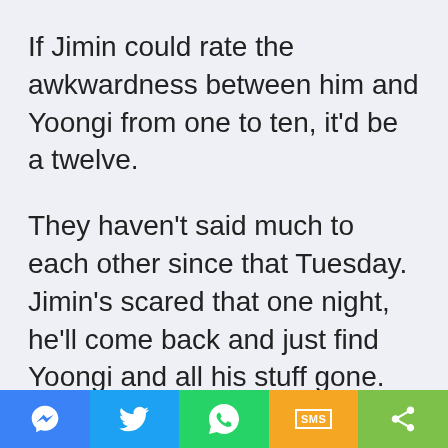If Jimin could rate the awkwardness between him and Yoongi from one to ten, it'd be a twelve.
They haven't said much to each other since that Tuesday. Jimin's scared that one night, he'll come back and just find Yoongi and all his stuff gone.
Something has to be done.
Jimin quietly comes in, feeling that he